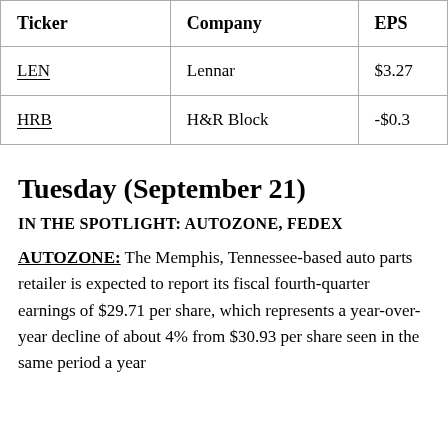| Ticker | Company | EPS |
| --- | --- | --- |
| LEN | Lennar | $3.27 |
| HRB | H&R Block | -$0.3 |
Tuesday (September 21)
IN THE SPOTLIGHT: AUTOZONE, FEDEX
AUTOZONE: The Memphis, Tennessee-based auto parts retailer is expected to report its fiscal fourth-quarter earnings of $29.71 per share, which represents a year-over-year decline of about 4% from $30.93 per share seen in the same period a year